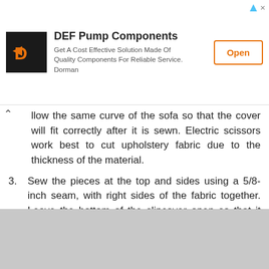[Figure (other): Advertisement banner for DEF Pump Components by Dorman with logo, description text, and Open button]
…llow the same curve of the sofa so that the cover will fit correctly after it is sewn. Electric scissors work best to cut upholstery fabric due to the thickness of the material.
3. Sew the pieces at the top and sides using a 5/8-inch seam, with right sides of the fabric together. Leave the bottom of the slipcover open so that it can be slipped over the back of the sofa.